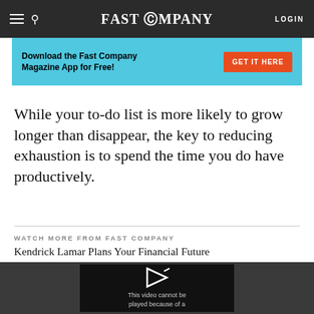FAST COMPANY | LOGIN
[Figure (infographic): Download the Fast Company Magazine App for Free! GET IT HERE button on cyan background]
While your to-do list is more likely to grow longer than disappear, the key to reducing exhaustion is to spend the time you do have productively.
WATCH MORE FROM FAST COMPANY
Kendrick Lamar Plans Your Financial Future
[Figure (screenshot): Video player showing 'This video cannot be played because of a' error message with play icon on dark background]